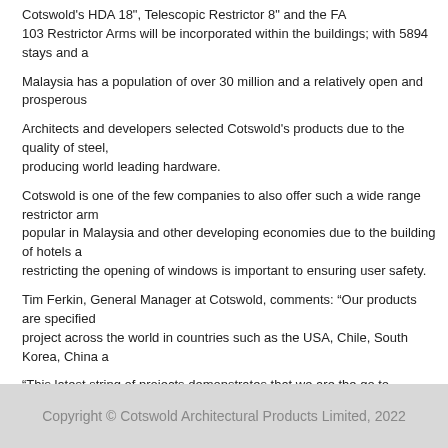Cotswold's HDA 18", Telescopic Restrictor 8" and the FA 103 Restrictor Arms will be incorporated within the buildings; with 5894 stays and a
Malaysia has a population of over 30 million and a relatively open and prosperous
Architects and developers selected Cotswold's products due to the quality of steel, producing world leading hardware.
Cotswold is one of the few companies to also offer such a wide range restrictor arm popular in Malaysia and other developing economies due to the building of hotels a restricting the opening of windows is important to ensuring user safety.
Tim Ferkin, General Manager at Cotswold, comments: “Our products are specified project across the world in countries such as the USA, Chile, South Korea, China a
“This latest string of projects demonstrates that we are the go to supplier for high s developments in Malaysia. Only the best would do and we delivered. We’re also pr globally.”
Previous Entry: Cotswold invests in capacity uplift programme
Next Entry: Another record breaking trading period for hardware su
Copyright © Cotswold Architectural Products Limited, 2022